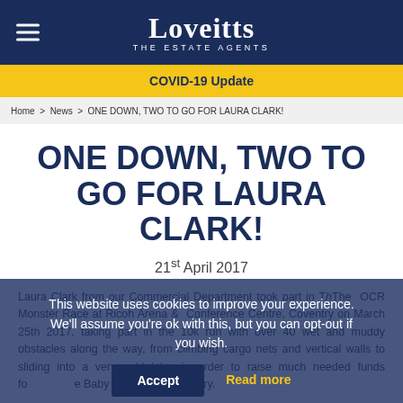Loveitts THE ESTATE AGENTS
COVID-19 Update
Home > News > ONE DOWN, TWO TO GO FOR LAURA CLARK!
ONE DOWN, TWO TO GO FOR LAURA CLARK!
21st April 2017
Laura Clark from our Commercial Department took part in ThThe OCR Monster Race at Ricoh Arena & Conference Centre, Coventry on March 25th 2017, taking part in the 10k run with over 40 wet and muddy obstacles along the way, from climbing cargo nets and vertical walls to sliding into a very cold lake, in order to raise much needed funds for Florence Baby Hospice in Coventry.
This website uses cookies to improve your experience. We'll assume you're ok with this, but you can opt-out if you wish.